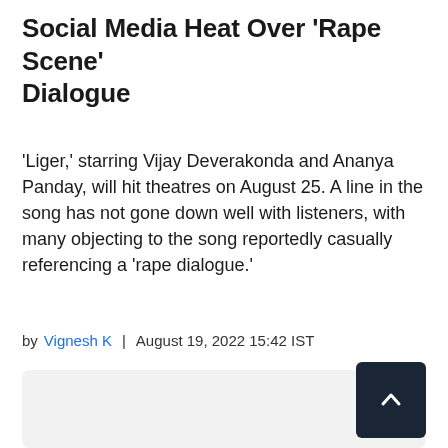Social Media Heat Over ‘Rape Scene’ Dialogue
'Liger,' starring Vijay Deverakonda and Ananya Panday, will hit theatres on August 25. A line in the song has not gone down well with listeners, with many objecting to the song reportedly casually referencing a 'rape dialogue.'
by Vignesh K | August 19, 2022 15:42 IST
[Figure (other): Gray box area with a dark scroll-to-top button in the bottom-right corner showing an upward chevron arrow]